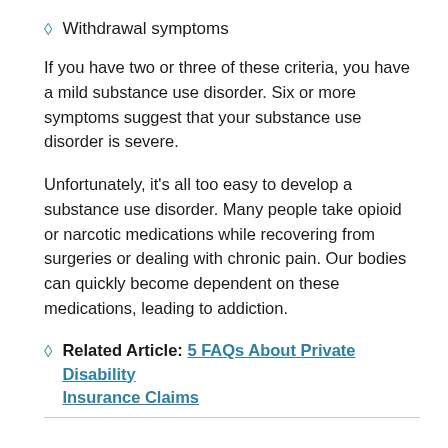Withdrawal symptoms
If you have two or three of these criteria, you have a mild substance use disorder. Six or more symptoms suggest that your substance use disorder is severe.
Unfortunately, it's all too easy to develop a substance use disorder. Many people take opioid or narcotic medications while recovering from surgeries or dealing with chronic pain. Our bodies can quickly become dependent on these medications, leading to addiction.
Related Article: 5 FAQs About Private Disability Insurance Claims